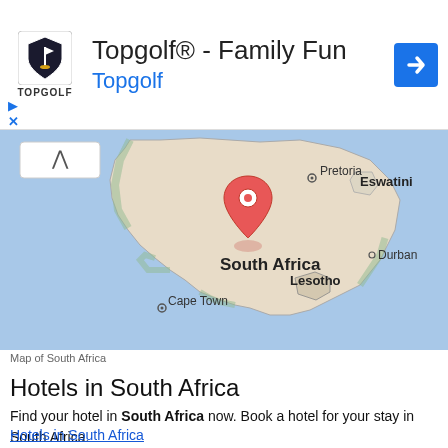[Figure (other): Advertisement banner for Topgolf - Family Fun with Topgolf logo, title text 'Topgolf® - Family Fun', subtitle 'Topgolf', and a blue navigation arrow icon. Play and close (X) controls visible.]
[Figure (map): Google Maps view of South Africa showing countries including South Africa, Eswatini, Lesotho, and cities Pretoria, Durban, Cape Town. A red location pin is placed in the center of South Africa. The map has a blue ocean background and beige/green land areas.]
Map of South Africa
Hotels in South Africa
Find your hotel in South Africa now. Book a hotel for your stay in South Africa.
Hotels in South Africa